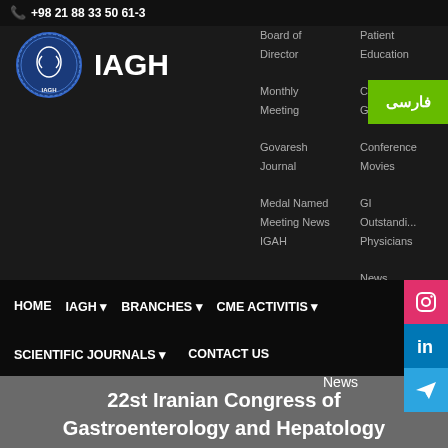+98 21 88 33 50 61-3
[Figure (logo): IAGH circular logo with blue border and white/blue medical emblem, next to bold white text IAGH]
Board of Director
Monthly Meeting
Govaresh Journal
Medal Named GI Meeting News
IGAH
Patient Education
Co Guidelines
Conference Movies
GI Outstanding Physicians
News
فارسی
HOME  IAGH ▾  BRANCHES ▾  CME ACTIVITIS ▾
SCIENTIFIC JOURNALS ▾  CONTACT US
22st Iranian Congress of Gastroenterology and Hepatology